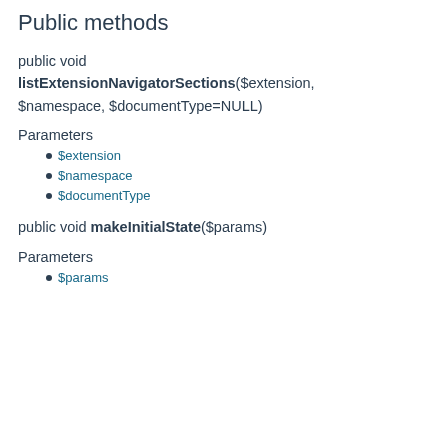Public methods
public void listExtensionNavigatorSections($extension, $namespace, $documentType=NULL)
Parameters
$extension
$namespace
$documentType
public void makeInitialState($params)
Parameters
$params